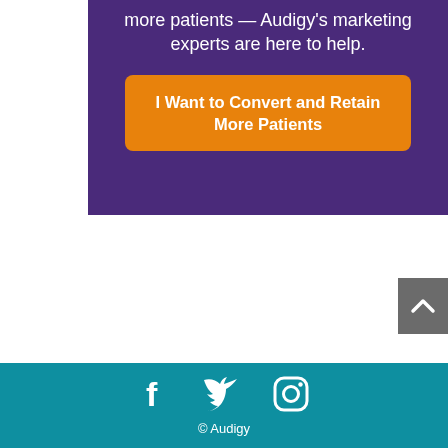more patients — Audigy's marketing experts are here to help.
[Figure (other): Orange call-to-action button with text 'I Want to Convert and Retain More Patients']
[Figure (other): Gray scroll-to-top button with upward chevron arrow]
© Audigy
[Figure (other): Teal footer bar with Facebook, Twitter, and Instagram social media icons and copyright text © Audigy]